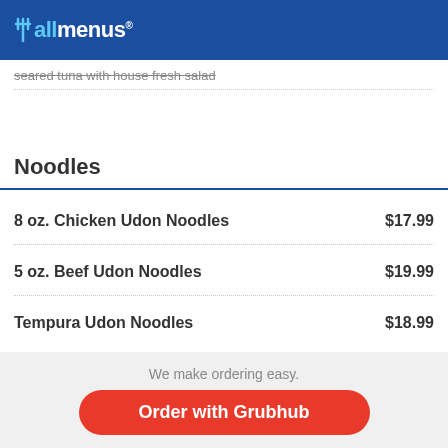allmenus
seared tuna with house fresh salad
Noodles
8 oz. Chicken Udon Noodles   $17.99
5 oz. Beef Udon Noodles   $19.99
Tempura Udon Noodles   $18.99
We make ordering easy. Order with Grubhub